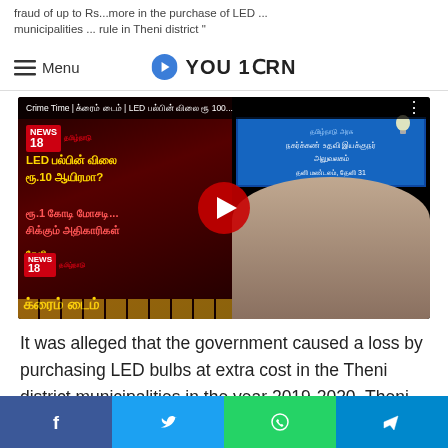fraud of up to Rs... more in the purchase of LED ... municipalities ... rule in Theni district
[Figure (screenshot): News18 Tamil Nadu Crime Time video thumbnail showing Tamil text about LED bulb fraud in Theni district, with a YouTube play button overlay and a woman official on the right side]
It was alleged that the government caused a loss by purchasing LED bulbs at extra cost in the Theni district municipalities in the year 2019-2020. Theni
Share buttons: Facebook, Twitter, WhatsApp, Telegram